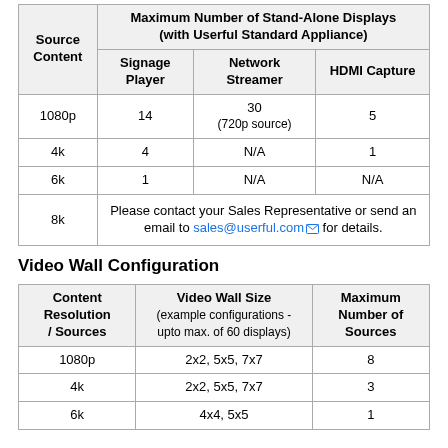| Source Content | Signage Player | Network Streamer | HDMI Capture |
| --- | --- | --- | --- |
| 1080p | 14 | 30
(720p source) | 5 |
| 4k | 4 | N/A | 1 |
| 6k | 1 | N/A | N/A |
| 8k | Please contact your Sales Representative or send an email to sales@userful.com for details. |  |  |
Video Wall Configuration
| Content Resolution / Sources | Video Wall Size (example configurations - upto max. of 60 displays) | Maximum Number of Sources |
| --- | --- | --- |
| 1080p | 2x2, 5x5, 7x7 | 8 |
| 4k | 2x2, 5x5, 7x7 | 3 |
| 6k | 4x4, 5x5 | 1 |